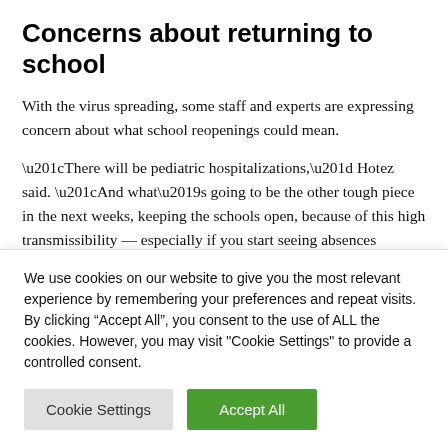Concerns about returning to school
With the virus spreading, some staff and experts are expressing concern about what school reopenings could mean.
“There will be pediatric hospitalizations,” Hotez said. “And what’s going to be the other tough piece in the next weeks, keeping the schools open, because of this high transmissibility — especially if you start seeing absences
We use cookies on our website to give you the most relevant experience by remembering your preferences and repeat visits. By clicking “Accept All”, you consent to the use of ALL the cookies. However, you may visit "Cookie Settings" to provide a controlled consent.
Cookie Settings | Accept All